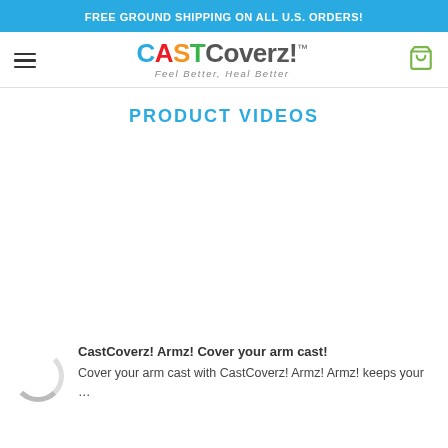FREE GROUND SHIPPING ON ALL U.S. ORDERS!
[Figure (logo): CASTCoverz! logo with tagline 'Feel Better, Heal Better' and navigation icons (hamburger menu and cart)]
PRODUCT VIDEOS
[Figure (screenshot): Blank/loading video area (white space where videos would load)]
CastCoverz! Armz! Cover your arm cast! Cover your arm cast with CastCoverz! Armz! Armz! keeps your …